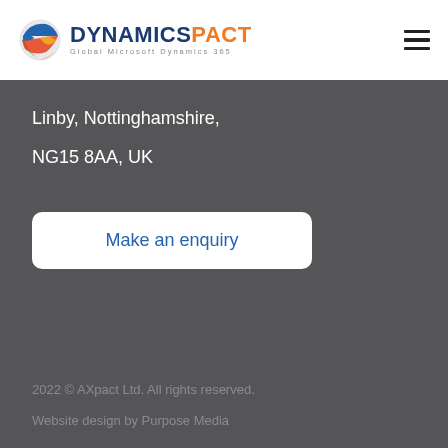DYNAMICSPACT Global Microsoft Dynamics 365
Linby, Nottinghamshire,
NG15 8AA, UK
Make an enquiry
2022 © AXpact Ltd. All rights reserved.
Website design by Purpose Media